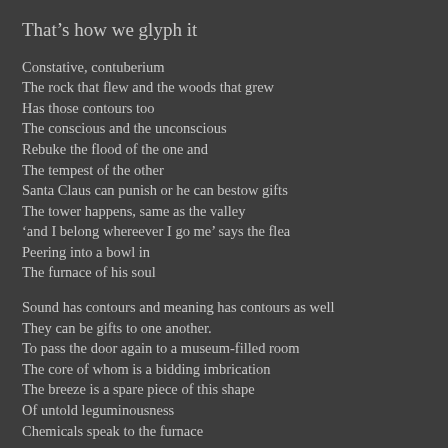That’s how we glyph it
Constative, contuberium
The rock that flew and the woods that grew
Has those contours too
The conscious and the unconscious
Rebuke the flood of the one and
The tempest of the other
Santa Claus can punish or he can bestow gifts
The tower happens, same as the valley
‘and I belong whereever I go me’ says the flea
Peering into a bowl in
The furnace of his soul
Sound has contours and meaning has contours as well
They can be gifts to one another.
To pass the door again to a museum-filled room
The core of whom is a bidding imbrication
The breeze is a spare piece of this shape
Of untold leguminousness
Chemicals speak to the furnace